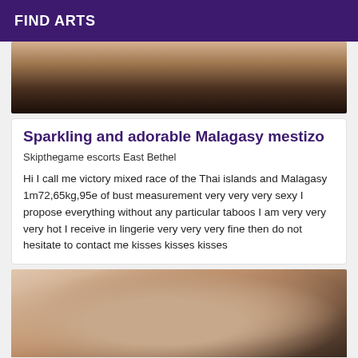FIND ARTS
[Figure (photo): Top portion of a photo showing a person, cropped at top of frame with warm/dark tones]
Sparkling and adorable Malagasy mestizo
Skipthegame escorts East Bethel
Hi I call me victory mixed race of the Thai islands and Malagasy 1m72,65kg,95e of bust measurement very very very sexy I propose everything without any particular taboos I am very very very hot I receive in lingerie very very very fine then do not hesitate to contact me kisses kisses kisses
[Figure (photo): Bottom photo showing upper torso of a person against a dark background]